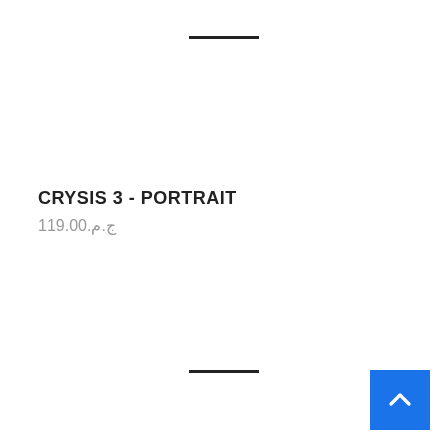—
CRYSIS 3 - PORTRAIT
ج.م.119.00
—
[Figure (other): Blue back-to-top button with upward chevron arrow]